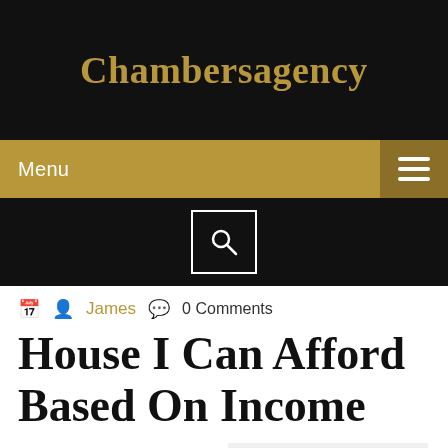Chambersagency
Menu
[Figure (screenshot): Search icon in a white-bordered box on black background]
James  0 Comments
House I Can Afford Based On Income
How much house can you afford? Find out in 6 steps.
Contents